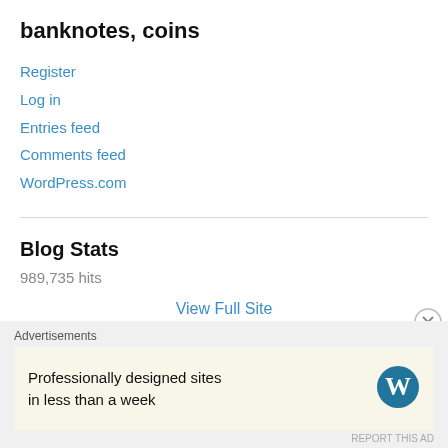banknotes, coins
Register
Log in
Entries feed
Comments feed
WordPress.com
Blog Stats
989,735 hits
View Full Site
Advertisements
Professionally designed sites in less than a week